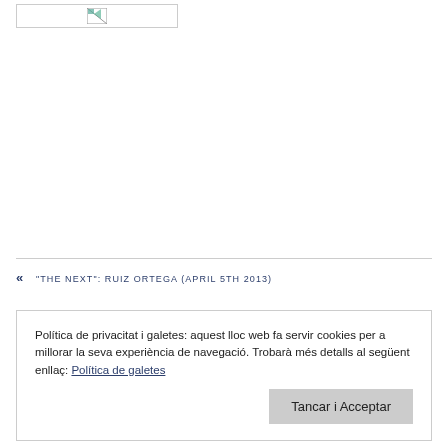[Figure (logo): Small broken image placeholder icon in top left corner]
« "THE NEXT": RUIZ ORTEGA (APRIL 5TH 2013)
Política de privacitat i galetes: aquest lloc web fa servir cookies per a millorar la seva experiència de navegació. Trobarà més detalls al següent enllaç: Política de galetes
Tancar i Acceptar